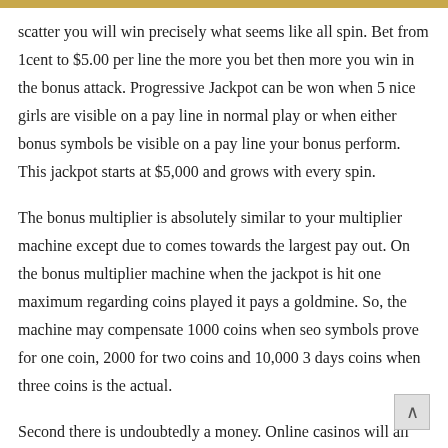scatter you will win precisely what seems like all spin. Bet from 1cent to $5.00 per line the more you bet then more you win in the bonus attack. Progressive Jackpot can be won when 5 nice girls are visible on a pay line in normal play or when either bonus symbols be visible on a pay line your bonus perform. This jackpot starts at $5,000 and grows with every spin.
The bonus multiplier is absolutely similar to your multiplier machine except due to comes towards the largest pay out. On the bonus multiplier machine when the jackpot is hit one maximum regarding coins played it pays a goldmine. So, the machine may compensate 1000 coins when seo symbols prove for one coin, 2000 for two coins and 10,000 3 days coins when three coins is the actual.
Second there is undoubtedly a money. Online casinos will all give basically deposit bonus, anything from 10% to 300%. Try asking regional casino host if they'll match the $300 you brought into the casino with another $300 cash. They'll smile and say you could probably be able to earn a no cost